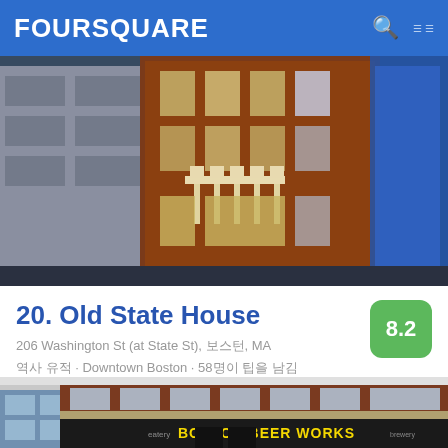FOURSQUARE
[Figure (photo): Old State House building at night, brick facade with white trim, surrounded by modern buildings]
20. Old State House
206 Washington St (at State St), 보스턴, MA
역사 유적 · Downtown Boston · 58명이 팁을 남김
[Figure (photo): Boston Beer Works brewery and eatery storefront, brick building with yellow signage]